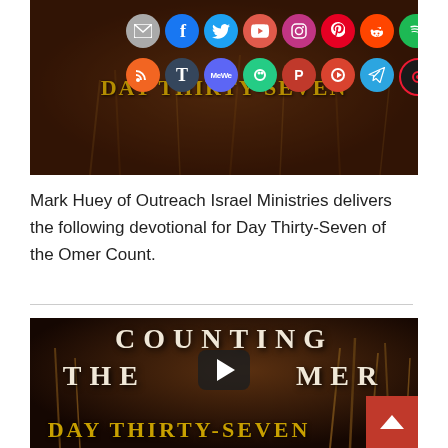[Figure (screenshot): Dark brown wheat field banner with social media icons (email, Facebook, Twitter, YouTube, Instagram, Pinterest, Reddit, Spotify, RSS, Tumblr, MeWe, Gab, Parler, Minds, Telegram, Odysee) arranged in two rows, overlaid with golden text 'DAY THIRTY-SEVEN']
Mark Huey of Outreach Israel Ministries delivers the following devotional for Day Thirty-Seven of the Omer Count.
[Figure (screenshot): Video thumbnail with dark wheat field background, white serif text 'COUNTING THE OMER', play button overlay, and golden text 'DAY THIRTY-SEVEN' at bottom]